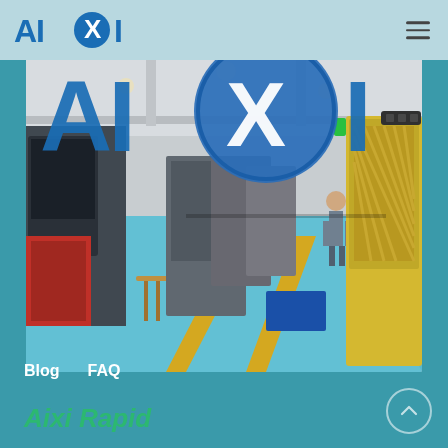AIXI (logo with circle X)
[Figure (photo): Manufacturing factory floor with CNC machines, blue epoxy floor with yellow lane markings, workers at machines, industrial lighting, AIXI logo overlaid large in top-left of image]
Blog   FAQ
Aixi Rapid